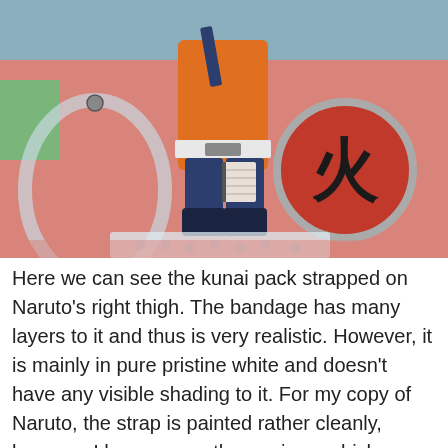[Figure (photo): Close-up photo of a Naruto Nendoroid figure showing the lower body — orange outfit, dark blue boots, kunai pack on right thigh with white bandage wrapping, standing on a clear plastic base with a support arm. Background shows a colorful anime backdrop with a red circle containing a Japanese kanji character (火/fire), pinkish-red and teal colors.]
Here we can see the kunai pack strapped on Naruto's right thigh. The bandage has many layers to it and thus is very realistic. However, it is mainly in pure pristine white and doesn't have any visible shading to it. For my copy of Naruto, the strap is painted rather cleanly, however I have seen other reviews which mentioned that there is some paint spill of the dark-